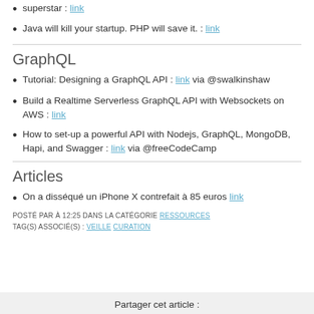superstar : link
Java will kill your startup. PHP will save it. : link
GraphQL
Tutorial: Designing a GraphQL API : link via @swalkinshaw
Build a Realtime Serverless GraphQL API with Websockets on AWS : link
How to set-up a powerful API with Nodejs, GraphQL, MongoDB, Hapi, and Swagger : link via @freeCodeCamp
Articles
On a disséqué un iPhone X contrefait à 85 euros link
POSTÉ PAR À 12:25 DANS LA CATÉGORIE RESSOURCES
TAG(S) ASSOCIÉ(S) : VEILLE CURATION
Partager cet article :